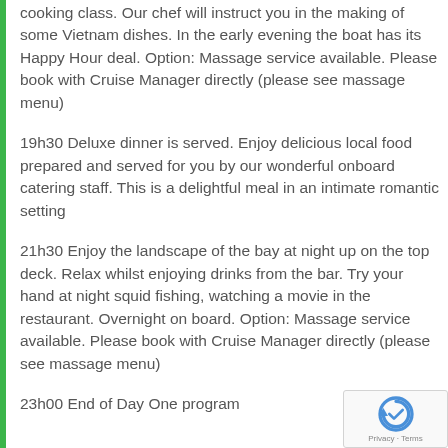cooking class. Our chef will instruct you in the making of some Vietnam dishes. In the early evening the boat has its Happy Hour deal. Option: Massage service available. Please book with Cruise Manager directly (please see massage menu)
19h30 Deluxe dinner is served. Enjoy delicious local food prepared and served for you by our wonderful onboard catering staff. This is a delightful meal in an intimate romantic setting
21h30 Enjoy the landscape of the bay at night up on the top deck. Relax whilst enjoying drinks from the bar. Try your hand at night squid fishing, watching a movie in the restaurant. Overnight on board. Option: Massage service available. Please book with Cruise Manager directly (please see massage menu)
23h00 End of Day One program